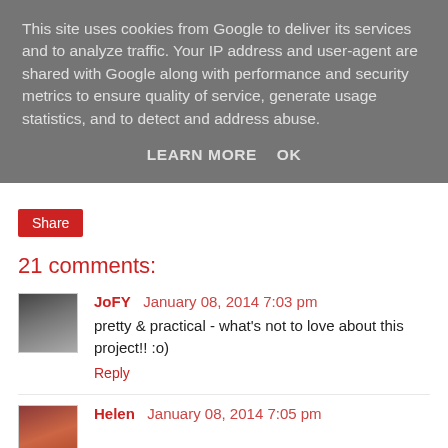This site uses cookies from Google to deliver its services and to analyze traffic. Your IP address and user-agent are shared with Google along with performance and security metrics to ensure quality of service, generate usage statistics, and to detect and address abuse.
LEARN MORE    OK
Share
21 comments:
JoFY  January 08, 2014 7:03 pm
pretty & practical - what's not to love about this project!! :o)
Reply
Helen  January 08, 2014 7:05 pm